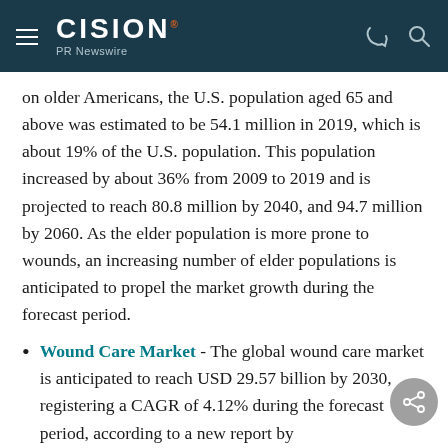CISION PR Newswire
on older Americans, the U.S. population aged 65 and above was estimated to be 54.1 million in 2019, which is about 19% of the U.S. population. This population increased by about 36% from 2009 to 2019 and is projected to reach 80.8 million by 2040, and 94.7 million by 2060. As the elder population is more prone to wounds, an increasing number of elder populations is anticipated to propel the market growth during the forecast period.
Wound Care Market - The global wound care market is anticipated to reach USD 29.57 billion by 2030, registering a CAGR of 4.12% during the forecast period, according to a new report by